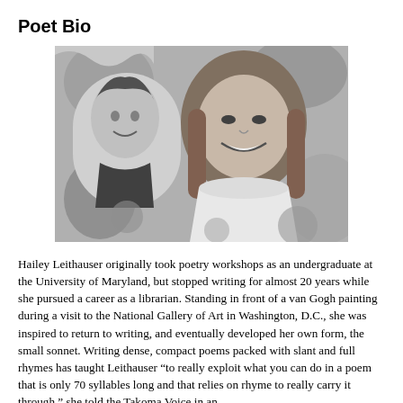Poet Bio
[Figure (photo): Black and white photo of a smiling woman with shoulder-length hair wearing a white turtleneck, standing in front of a colorful painting that includes a portrait of Elvis Presley.]
Hailey Leithauser originally took poetry workshops as an undergraduate at the University of Maryland, but stopped writing for almost 20 years while she pursued a career as a librarian. Standing in front of a van Gogh painting during a visit to the National Gallery of Art in Washington, D.C., she was inspired to return to writing, and eventually developed her own form, the small sonnet. Writing dense, compact poems packed with slant and full rhymes has taught Leithauser “to really exploit what you can do in a poem that is only 70 syllables long and that relies on rhyme to really carry it through,” she told the Takoma Voice in an